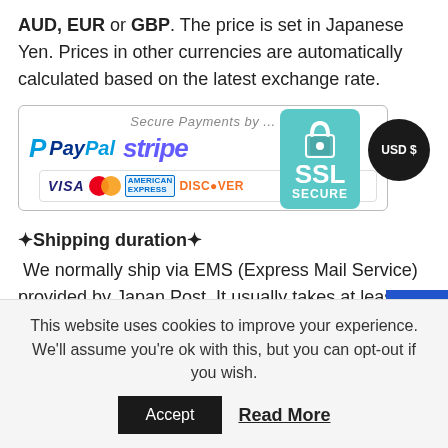AUD, EUR or GBP. The price is set in Japanese Yen. Prices in other currencies are automatically calculated based on the latest exchange rate.
[Figure (infographic): Secure Payments banner showing PayPal, Stripe logos, VISA, MasterCard, American Express, Discover card logos, and SSL Secure badge. A USD $ circular button is in the top right.]
✦Shipping duration✦
We normally ship via EMS (Express Mail Service) provided by Japan Post. It usually takes at least 5-14 days to deliver the package after you place an order. We will
This website uses cookies to improve your experience. We'll assume you're ok with this, but you can opt-out if you wish.
Accept
Read More